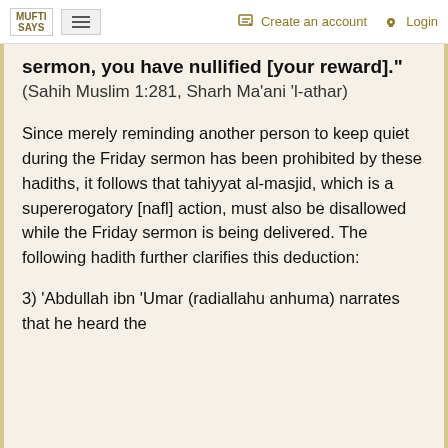MUFTI SAYS | Create an account | Login
sermon, you have nullified [your reward]." (Sahih Muslim 1:281, Sharh Ma'ani 'l-athar)
Since merely reminding another person to keep quiet during the Friday sermon has been prohibited by these hadiths, it follows that tahiyyat al-masjid, which is a supererogatory [nafl] action, must also be disallowed while the Friday sermon is being delivered. The following hadith further clarifies this deduction:
3) 'Abdullah ibn 'Umar (radiallahu anhuma) narrates that he heard the